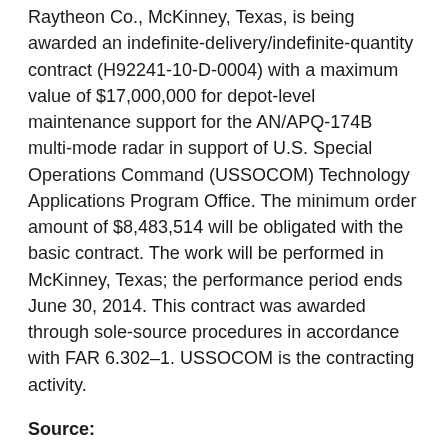Raytheon Co., McKinney, Texas, is being awarded an indefinite-delivery/indefinite-quantity contract (H92241-10-D-0004) with a maximum value of $17,000,000 for depot-level maintenance support for the AN/APQ-174B multi-mode radar in support of U.S. Special Operations Command (USSOCOM) Technology Applications Program Office. The minimum order amount of $8,483,514 will be obligated with the basic contract. The work will be performed in McKinney, Texas; the performance period ends June 30, 2014. This contract was awarded through sole-source procedures in accordance with FAR 6.302–1. USSOCOM is the contracting activity.
Source: